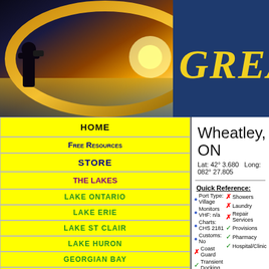[Figure (screenshot): Website header with silhouette of person with binoculars at sunset, gold oval frame, and blue banner with text 'GREA' (Great Lakes)]
HOME
Free Resources
STORE
THE LAKES
LAKE ONTARIO
LAKE ERIE
LAKE ST CLAIR
LAKE HURON
GEORGIAN BAY
NORTH CHANNEL
LAKE MICHIGAN
LAKE SUPERIOR
PORT INDEX
Wheatley, ON
Lat: 42° 3.680   Long: 082° 27.805
Quick Reference:
Port Type: Village | Monitors VHF: n/a | Charts: CHS 2181 | Customs: No | Coast Guard | Transient Docking | Showers | Laundry | Repair Services | Provisions | Pharmacy | Hospital/Clinic